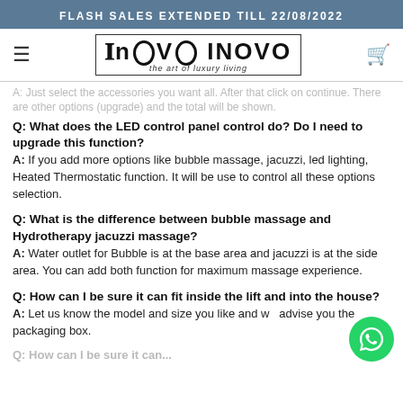FLASH SALES EXTENDED TILL 22/08/2022
[Figure (logo): INOVO logo with hamburger menu and cart icon navigation bar]
A: Just select the accessories you want all. After that click on continue. There are other options (upgrade) and the total will be shown.
Q: What does the LED control panel control do? Do I need to upgrade this function?
A: If you add more options like bubble massage, jacuzzi, led lighting, Heated Thermostatic function. It will be use to control all these options selection.
Q: What is the difference between bubble massage and Hydrotherapy jacuzzi massage?
A: Water outlet for Bubble is at the base area and jacuzzi is at the side area. You can add both function for maximum massage experience.
Q: How can I be sure it can fit inside the lift and into the house?
A: Let us know the model and size you like and we advise you the packaging box.
Q: How can I be sure it can...